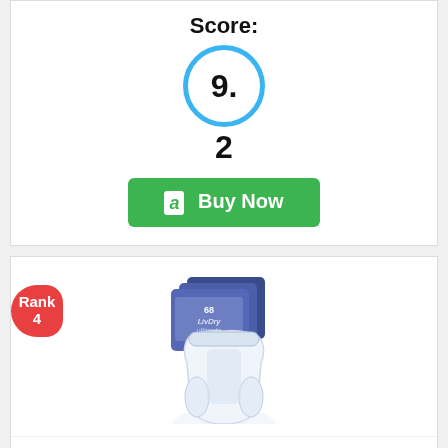Score:
9.2
[Figure (other): Green Amazon 'Buy Now' button with Amazon logo]
[Figure (other): Red rank badge showing 'Rank 4' overlaid on product card]
[Figure (photo): LivDry Ultimate Adult Incontinence Underwear product image, showing box of 68 count and a pull-up style adult diaper]
LivDry Ultimate Adult Incontinence Underwear, High Absorbency, Leak Cuff Protection, Medium, 68-Pack
Editorial Score: